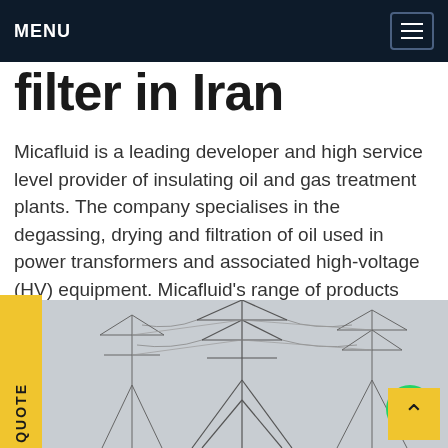MENU
filter in Iran
Micafluid is a leading developer and high service level provider of insulating oil and gas treatment plants. The company specialises in the degassing, drying and filtration of oil used in power transformers and associated high-voltage (HV) equipment. Micafluid's range of products consists of oil treatment and regeneration plants, vacuum pumpGet price
[Figure (photo): Black and white photo of high-voltage electricity transmission towers and pylons against a cloudy sky, viewed from below at an angle.]
REQUEST A QUOTE